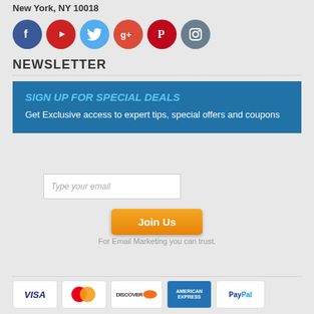New York, NY 10018
[Figure (infographic): Row of social media icon circles: Facebook (blue), YouTube (red), Twitter (light blue), Google+ (red), Pinterest (red), Instagram (grey-blue)]
NEWSLETTER
SIGN UP FOR SPECIAL DEALS
Get Exclusive access to expert tips, special offers and coupons
Type your email
Join Us
For Email Marketing you can trust.
[Figure (logo): Row of payment method logos: VISA, MasterCard, Discover, American Express, PayPal]